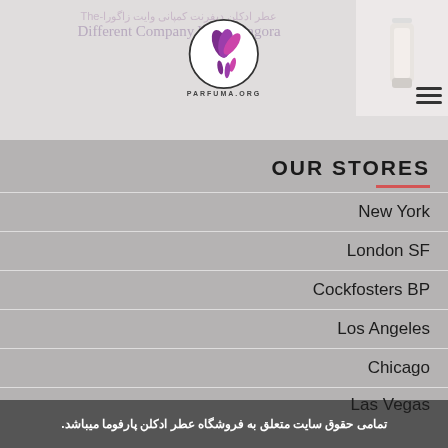عطر ادکلن دیفرنت کمپانی وایت زاگورا - The Different Company White Zagora
[Figure (logo): Parfuma.org logo with purple flower/leaf design inside a circle, text PARFUMA.ORG below]
[Figure (photo): Product bottle image on the right side of the header]
OUR STORES
New York
London SF
Cockfosters BP
Los Angeles
Chicago
Las Vegas
تمامی حقوق سایت متعلق به فروشگاه عطر ادکلن پارفوما میباشد.